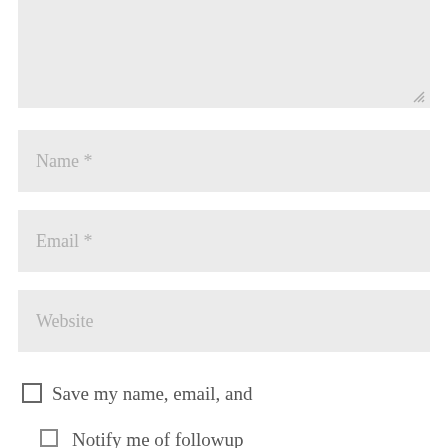[Figure (screenshot): Textarea input field (grayed out, empty, with resize handle at bottom right)]
Name *
Email *
Website
Save my name, email, and website in this browser for the next time I comment.
Notify me of followup